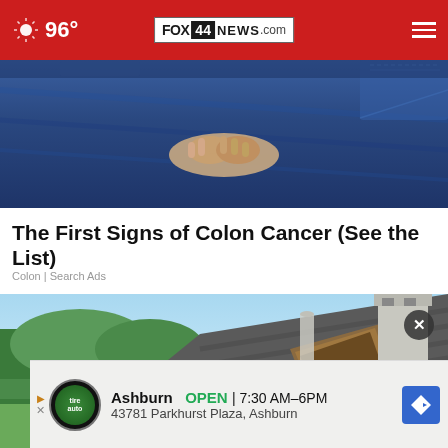96° FOX 44 NEWS.com
[Figure (photo): Close-up photo of person wearing jeans, hands clasped at the back]
The First Signs of Colon Cancer (See the List)
Colon | Search Ads
[Figure (photo): Photo of a rooftop with skylights, green trees and blue sky in background]
Ashburn  OPEN  7:30 AM–6PM
43781 Parkhurst Plaza, Ashburn